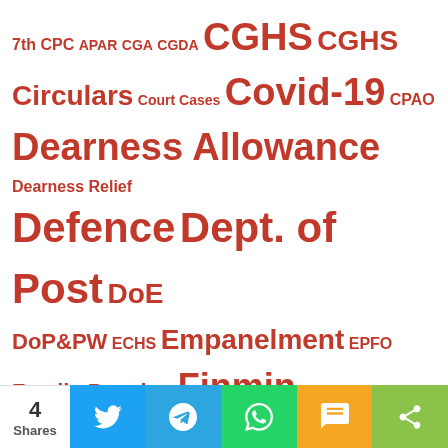[Figure (infographic): Tag cloud of government-related topics in red text on white background, with varying font sizes indicating relative importance. Tags include: 7th CPC, APAR, CGA, CGDA, CGHS, CGHS Circulars, Court Cases, Covid-19, CPAO, Dearness Allowance, Dearness Relief, Defence, Dept. of Post, DoE, DoP&PW, ECHS, Empanelment, EPFO, Family Pension, Finmin, GDS, Guidelines, HCOs, Income Tax, India Post, KVS, Latest DoPT Orders, LTC, MACP, Min. of Communications, Minimum Wages, Ministry of Labour, Ministry of Railway, MoH&FW, NPS, PCDA, Pension, Railway]
[Figure (infographic): Social share bar at bottom: 4 Shares count, Twitter (blue), Telegram (light blue), WhatsApp (green), SMS (orange), Share (light green) buttons]